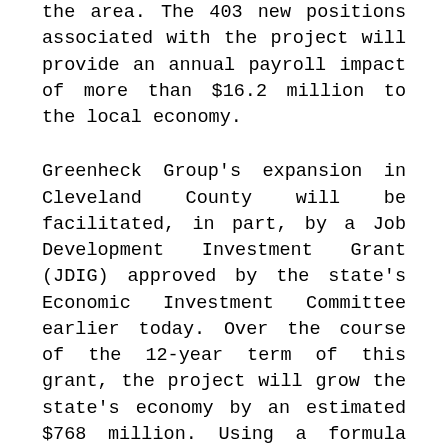the area. The 403 new positions associated with the project will provide an annual payroll impact of more than $16.2 million to the local economy.
Greenheck Group's expansion in Cleveland County will be facilitated, in part, by a Job Development Investment Grant (JDIG) approved by the state's Economic Investment Committee earlier today. Over the course of the 12-year term of this grant, the project will grow the state's economy by an estimated $768 million. Using a formula that takes into account the new tax revenues generated by the new jobs, the JDIG agreement authorizes the potential reimbursement to the company of up to $3,278,000, spread over 12 years. State payments only occur following performance verification by the departments of Commerce